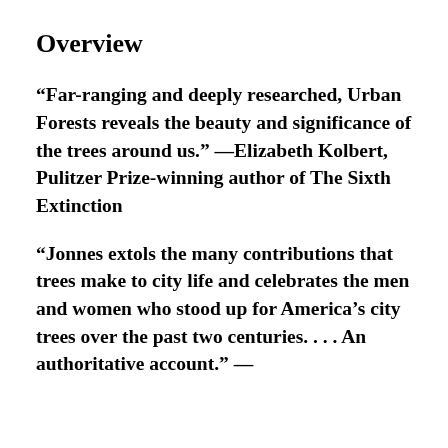Overview
“Far-ranging and deeply researched, Urban Forests reveals the beauty and significance of the trees around us.” —Elizabeth Kolbert, Pulitzer Prize-winning author of The Sixth Extinction
“Jonnes extols the many contributions that trees make to city life and celebrates the men and women who stood up for America’s city trees over the past two centuries. . . . An authoritative account.” —